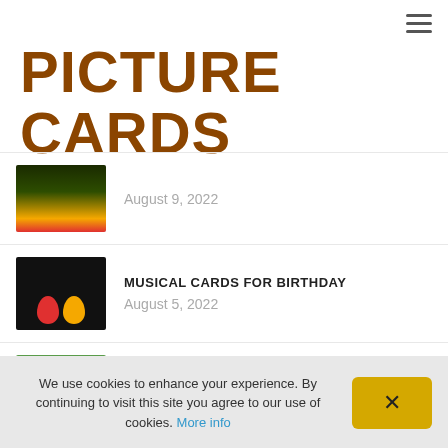≡
PICTURE CARDS
August 9, 2022
MUSICAL CARDS FOR BIRTHDAY
August 5, 2022
CLEVER CHRISTMAS CARD GREETINGS
July 31, 2022
We use cookies to enhance your experience. By continuing to visit this site you agree to our use of cookies. More info